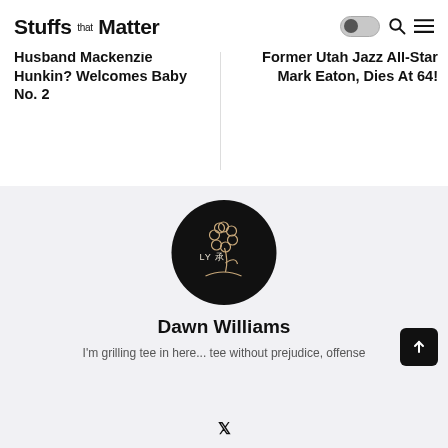Stuffs that Matter
Husband Mackenzie Hunkin? Welcomes Baby No. 2
Former Utah Jazz All-Star Mark Eaton, Dies At 64!
[Figure (logo): Circular black logo with flower illustration and text 'LY 承']
Dawn Williams
I'm grilling tee in here... tee without prejudice, offense